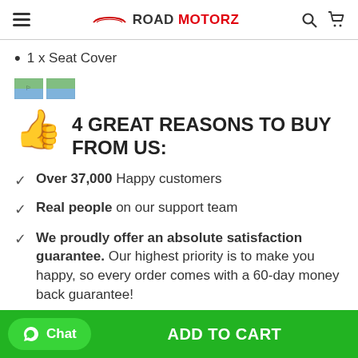ROAD MOTORZ
1 x Seat Cover
[Figure (illustration): Two small flag icons (green/blue) representing country flags]
4 GREAT REASONS TO BUY FROM US:
Over 37,000 Happy customers
Real people on our support team
We proudly offer an absolute satisfaction guarantee. Our highest priority is to make you happy, so every order comes with a 60-day money back guarantee!
Chat | ADD TO CART